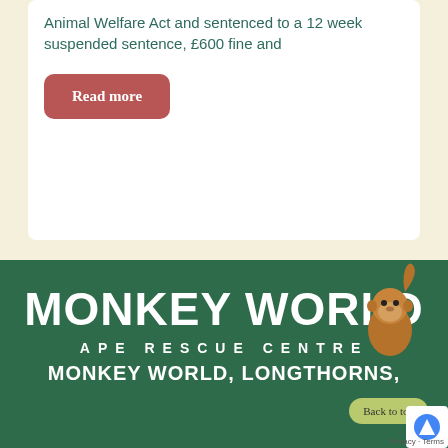Animal Welfare Act and sentenced to a 12 week suspended sentence, £600 fine and
Read more
[Figure (logo): Monkey World Ape Rescue Centre logo on dark green background with orangutan illustration and text: MONKEY WORLD, APE RESCUE CENTRE, MONKEY WORLD, LONGTHORNS,]
Back to top